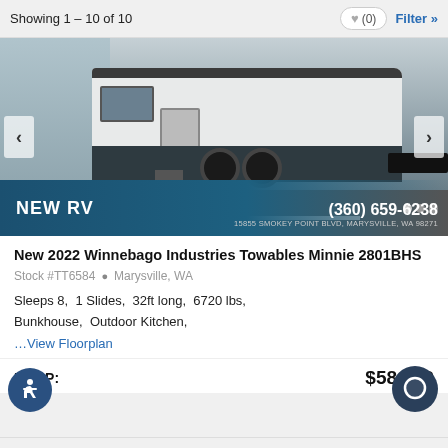Showing 1 – 10 of 10
[Figure (photo): Photo of a white travel trailer RV in a parking lot with road markings visible. Overlay shows 'NEW RV' label, navigation dots, phone number (360) 659-6238, and address 15855 SMOKEY POINT BLVD, MARYSVILLE, WA 98271.]
New 2022 Winnebago Industries Towables Minnie 2801BHS
Stock #TT6584  Marysville, WA
Sleeps 8,  1 Slides,  32ft long,  6720 lbs,  Bunkhouse,  Outdoor Kitchen,
…View Floorplan
MSRP:  $58,859